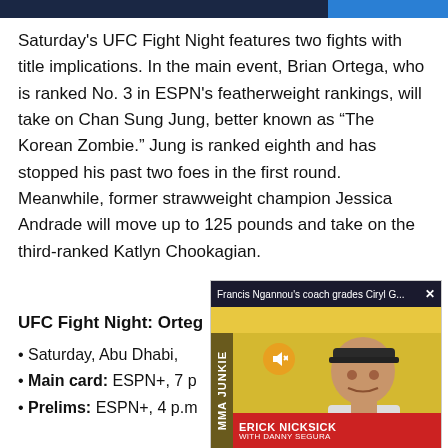Saturday's UFC Fight Night features two fights with title implications. In the main event, Brian Ortega, who is ranked No. 3 in ESPN's featherweight rankings, will take on Chan Sung Jung, better known as “The Korean Zombie.” Jung is ranked eighth and has stopped his past two foes in the first round. Meanwhile, former strawweight champion Jessica Andrade will move up to 125 pounds and take on the third-ranked Katlyn Chookagian.
UFC Fight Night: Orteg…
Saturday, Abu Dhabi,…
Main card: ESPN+, 7 p…
Prelims: ESPN+, 4 p.m…
[Figure (screenshot): Video overlay popup with title 'Francis Ngannou’s coach grades Ciryl G...' and an MMA Junkie video thumbnail showing a man with a baseball cap on a yellow background, with ERICK NICKSICK WITH DANNY SEGURA text at the bottom on a red bar.]